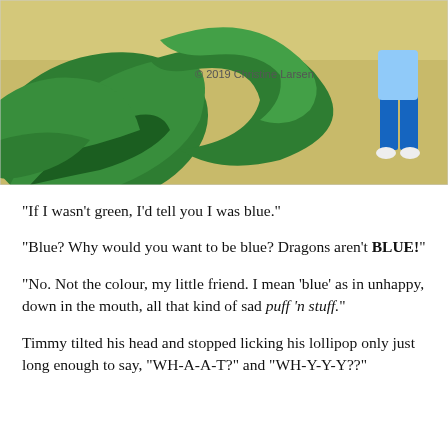[Figure (illustration): Illustrated scene showing large green dragon claws/tail on a yellow-green floor, with a small child in blue pants and white shoes visible at the right edge. Copyright text reads '© 2019 Christine Larsen'.]
“If I wasn’t green, I’d tell you I was blue.”
“Blue? Why would you want to be blue? Dragons aren't BLUE!”
“No. Not the colour, my little friend. I mean ‘blue’ as in unhappy, down in the mouth, all that kind of sad puff ‘n stuff.”
Timmy tilted his head and stopped licking his lollipop only just long enough to say, “WH-A-A-T?” and “WH-Y-Y-Y??”